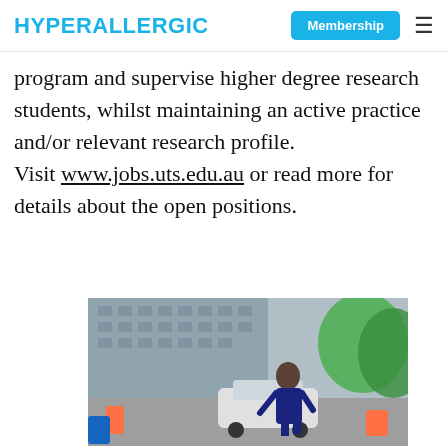HYPERALLERGIC | Membership
program and supervise higher degree research students, whilst maintaining an active practice and/or relevant research profile. Visit www.jobs.uts.edu.au or read more for details about the open positions.
[Figure (photo): A man in a dark suit crouching or leaning near a car on a street, with a large building and green trees in the background.]